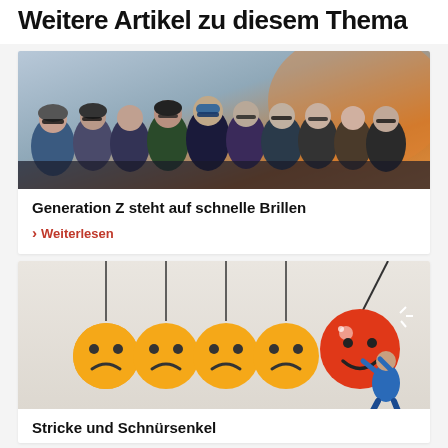Weitere Artikel zu diesem Thema
[Figure (photo): Group photo of approximately 15 people outdoors wearing sunglasses and winter clothing at sunset/dusk]
Generation Z steht auf schnelle Brillen
› Weiterlesen
[Figure (illustration): Illustration showing four yellow sad-face emoji balls hanging from strings on the left, and a person in a blue suit pulling on a rope attached to one large orange smiley-face ball on the right]
Stricke und Schnürsenkel